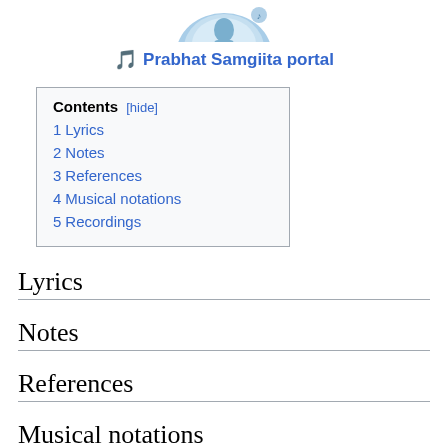[Figure (illustration): Prabhat Samgiita portal icon with blue circular graphic and figure]
Prabhat Samgiita portal
| Contents |
| --- |
| 1 Lyrics |
| 2 Notes |
| 3 References |
| 4 Musical notations |
| 5 Recordings |
Lyrics
Notes
References
Musical notations
Recordings